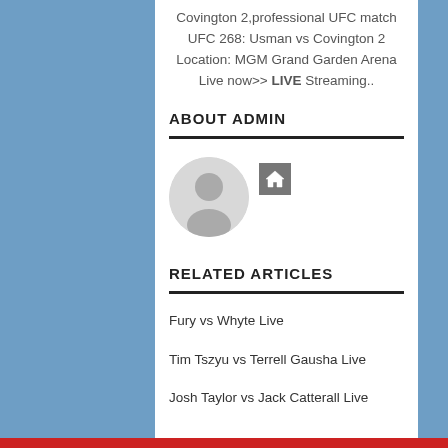Covington 2,professional UFC match UFC 268: Usman vs Covington 2 Location: MGM Grand Garden Arena Live now>> LIVE Streaming..
ABOUT ADMIN
[Figure (illustration): Default user avatar circle with gray silhouette, and a house/home icon button in gray square]
RELATED ARTICLES
Fury vs Whyte Live
Tim Tszyu vs Terrell Gausha Live
Josh Taylor vs Jack Catterall Live